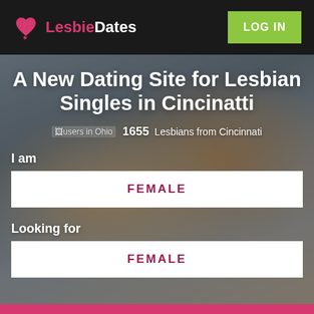LesbieDates | LOG IN
A New Dating Site for Lesbian Singles in Cincinatti
[users in Ohio icon] 1655 Lesbians from Cincinnati
I am
FEMALE
Looking for
FEMALE